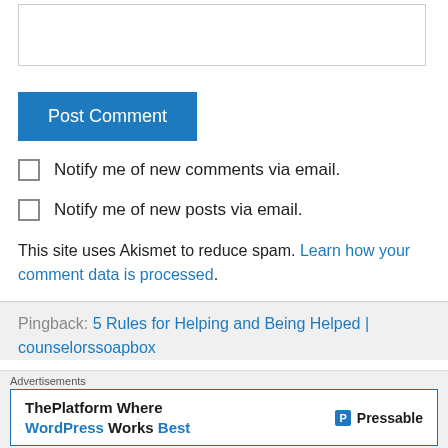[Figure (screenshot): Empty textarea input box for comment entry]
Post Comment
Notify me of new comments via email.
Notify me of new posts via email.
This site uses Akismet to reduce spam. Learn how your comment data is processed.
Pingback: 5 Rules for Helping and Being Helped | counselorssoapbox
Advertisements
[Figure (screenshot): Pressable advertisement banner reading ThePlatform Where WordPress Works Best with Pressable logo]